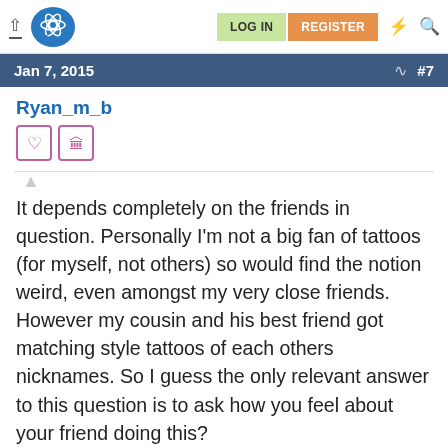LOG IN | REGISTER
Jan 7, 2015  #7
Ryan_m_b
It depends completely on the friends in question. Personally I'm not a big fan of tattoos (for myself, not others) so would find the notion weird, even amongst my very close friends. However my cousin and his best friend got matching style tattoos of each others nicknames. So I guess the only relevant answer to this question is to ask how you feel about your friend doing this?